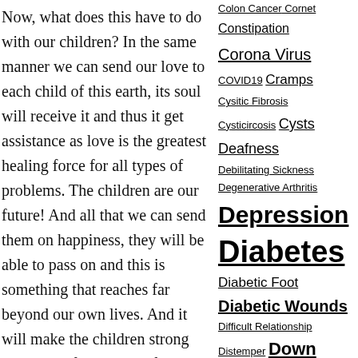[Figure (photo): Three children sitting on rocks in a garden with green plants and flowers]
Now, what does this have to do with our children? In the same manner we can send our love to each child of this earth, its soul will receive it and thus it get assistance as love is the greatest healing force for all types of problems. The children are our future! And all that we can send them on happiness, they will be able to pass on and this is something that reaches far beyond our own lives. And it will make the children strong and happy for a joyous future.
Colon Cancer Cornet
Constipation
Corona Virus
COVID19 Cramps
Cysitic Fibrosis
Cysticircosis Cysts
Deafness
Debilitating Sickness
Degenerative Arthritis
Depression
Diabetes
Diabetic Foot
Diabetic Wounds
Difficult Relationship
Distemper Down Syndrome Drug Addiction
Eczema Emotional